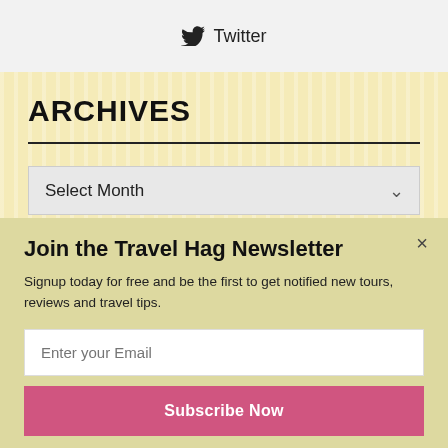Twitter
ARCHIVES
Select Month
Join the Travel Hag Newsletter
Signup today for free and be the first to get notified new tours, reviews and travel tips.
Enter your Email
Subscribe Now